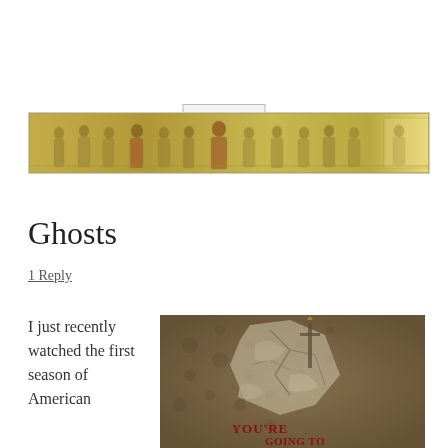Menu
[Figure (illustration): Wide horizontal banner image showing a medieval or Renaissance fresco/painting of multiple robed figures standing in a row, with golden/yellowish tones]
Ghosts
1 Reply
I just recently watched the first season of American
[Figure (photo): Horror image showing cracked/peeling wall with text 'YOU'RE GOING TO' written in red/blood-like letters, dark moody sepia tones]